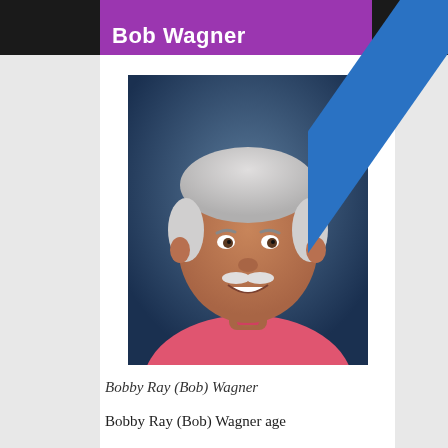Bob Wagner
[Figure (photo): Portrait photo of Bobby Ray (Bob) Wagner, an older man with white hair and a white mustache, wearing a pink polo shirt, smiling against a dark blue background.]
Bobby Ray (Bob) Wagner
Bobby Ray (Bob) Wagner age
[Figure (infographic): Diagonal blue ribbon banner overlay in the top-right corner with text reading "KSST's YouTube Channel"]